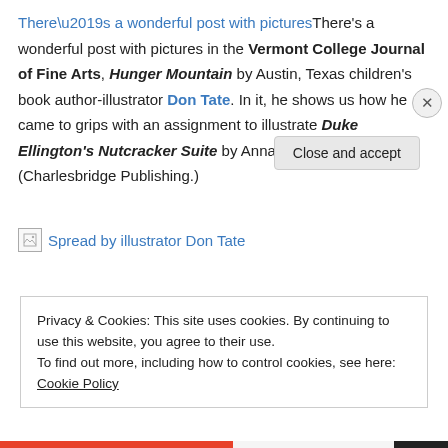There’s a wonderful post with pictures in the Vermont College Journal of Fine Arts, Hunger Mountain by Austin, Texas children’s book author-illustrator Don Tate. In it, he shows us how he came to grips with an assignment to illustrate Duke Ellington’s Nutcracker Suite by Anna Harwell Celenza (Charlesbridge Publishing.)
[Figure (other): Broken image placeholder labeled 'Spread by illustrator Don Tate']
Privacy & Cookies: This site uses cookies. By continuing to use this website, you agree to their use.
To find out more, including how to control cookies, see here: Cookie Policy